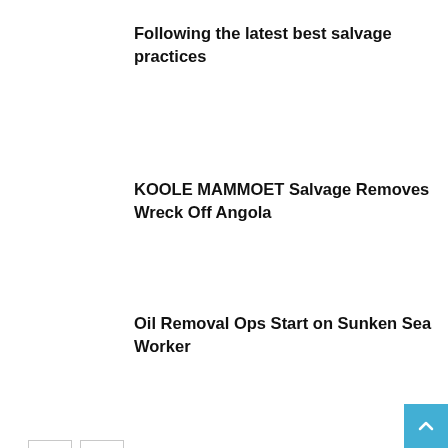Following the latest best salvage practices
KOOLE MAMMOET Salvage Removes Wreck Off Angola
Oil Removal Ops Start on Sunken Sea Worker
LEAVE A REPLY
Comment: